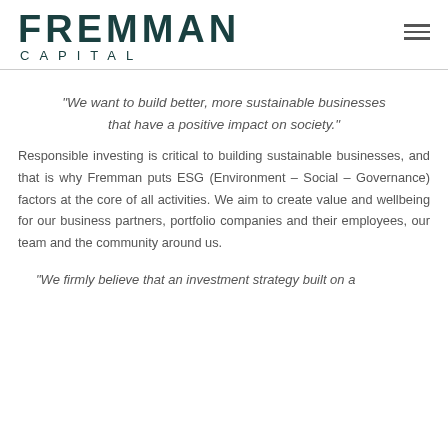FREMMAN CAPITAL
"We want to build better, more sustainable businesses that have a positive impact on society."
Responsible investing is critical to building sustainable businesses, and that is why Fremman puts ESG (Environment – Social – Governance) factors at the core of all activities. We aim to create value and wellbeing for our business partners, portfolio companies and their employees, our team and the community around us.
"We firmly believe that an investment strategy built on a